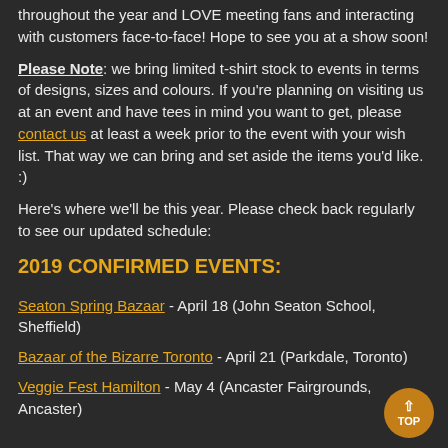throughout the year and LOVE meeting fans and interacting with customers face-to-face! Hope to see you at a show soon!
Please Note: we bring limited t-shirt stock to events in terms of designs, sizes and colours. If you're planning on visiting us at an event and have tees in mind you want to get, please contact us at least a week prior to the event with your wish list. That way we can bring and set aside the items you'd like. :)
Here's where we'll be this year. Please check back regularly to see our updated schedule:
2019 CONFIRMED EVENTS:
Seaton Spring Bazaar - April 18 (John Seaton School, Sheffield)
Bazaar of the Bizarre Toronto - April 21 (Parkdale, Toronto)
Veggie Fest Hamilton - May 4 (Ancaster Fairgrounds, Ancaster)